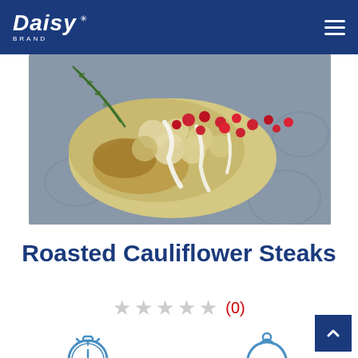Daisy Brand
[Figure (photo): Roasted cauliflower steaks on a decorative plate drizzled with sour cream and topped with pomegranate seeds and fresh rosemary]
Roasted Cauliflower Steaks
★★★★★ (0)
[Figure (infographic): Stopwatch icon representing prep/cook time and a serving dish cloche icon]